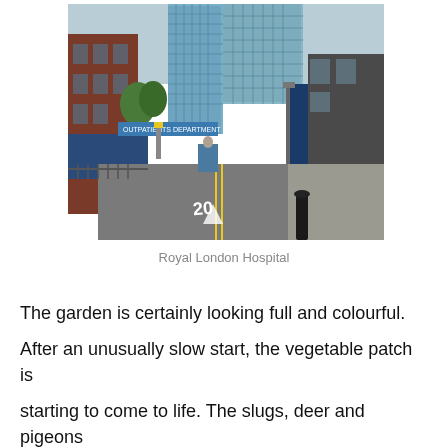[Figure (photo): Street-level photograph looking down a road toward the Royal London Hospital. Red-brick Victorian buildings on the left, modern glass skyscrapers visible ahead, blue construction hoardings on the right. A 20 mph road marking is visible in the foreground, along with yellow double lines. An 'Outpatients Department' sign spans the road in the background.]
Royal London Hospital
The garden is certainly looking full and colourful. After an unusually slow start, the vegetable patch is starting to come to life. The slugs, deer and pigeons